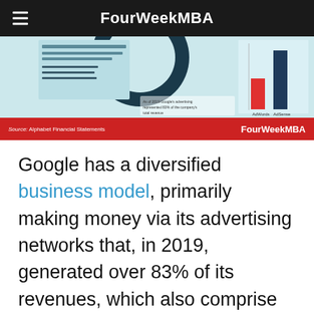FourWeekMBA
[Figure (infographic): Partial view of a FourWeekMBA infographic about Google/Alphabet advertising revenue, showing a dark circular chart element, bar chart, and text annotations. Source: Alphabet Financial Statements.]
Google has a diversified business model, primarily making money via its advertising networks that, in 2019, generated over 83% of its revenues, which also comprise YouTube Ads. Other revenue streams include Google Cloud,